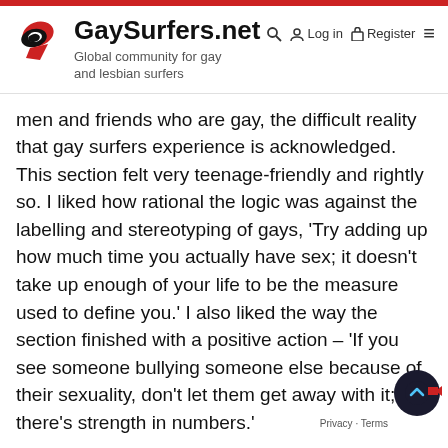GaySurfers.net — Global community for gay and lesbian surfers
men and friends who are gay, the difficult reality that gay surfers experience is acknowledged. This section felt very teenage-friendly and rightly so. I liked how rational the logic was against the labelling and stereotyping of gays, 'Try adding up how much time you actually have sex; it doesn't take up enough of your life to be the measure used to define you.' I also liked the way the section finished with a positive action – 'If you see someone bullying someone else because of their sexuality, don't let them get away with it; there's strength in numbers.'
The title Notes for a Young Surfer implies a specific age range for the book, however, surfers of all ages (especially male surfers) would find reading this bo...